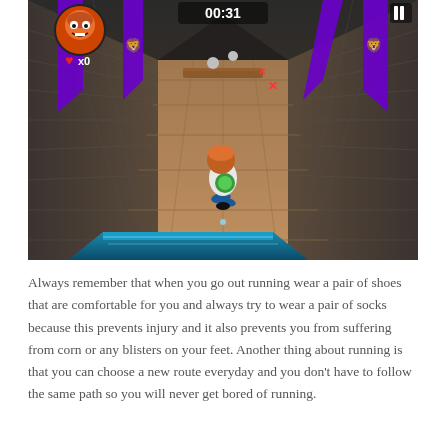[Figure (screenshot): A 3D endless runner mobile game screenshot showing a cartoon character running down a stone corridor with purple banners, wooden obstacles, brick walls, and a timer reading 00:31 at the top. A lives counter shows x0 in the top left. The character has red/orange hair and is wearing a white outfit with a blue backpack.]
Always remember that when you go out running wear a pair of shoes that are comfortable for you and always try to wear a pair of socks because this prevents injury and it also prevents you from suffering from corn or any blisters on your feet. Another thing about running is that you can choose a new route everyday and you don't have to follow the same path so you will never get bored of running.